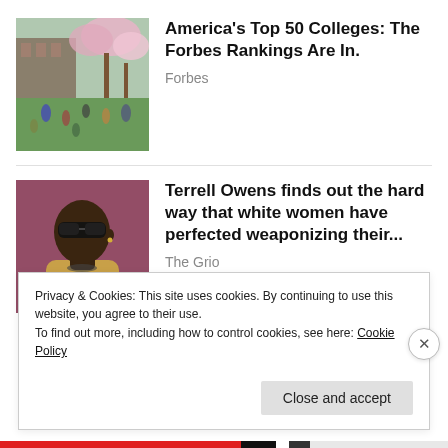[Figure (photo): Campus scene with cherry blossom trees, people walking on a lawn in front of a building]
America's Top 50 Colleges: The Forbes Rankings Are In.
Forbes
[Figure (photo): Man wearing sunglasses and a tan/gold jacket, looking to the side]
Terrell Owens finds out the hard way that white women have perfected weaponizing their...
The Grio
Privacy & Cookies: This site uses cookies. By continuing to use this website, you agree to their use.
To find out more, including how to control cookies, see here: Cookie Policy